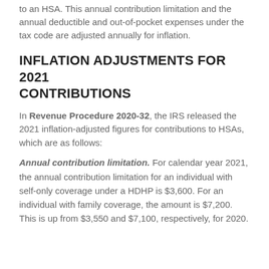to an HSA. This annual contribution limitation and the annual deductible and out-of-pocket expenses under the tax code are adjusted annually for inflation.
INFLATION ADJUSTMENTS FOR 2021 CONTRIBUTIONS
In Revenue Procedure 2020-32, the IRS released the 2021 inflation-adjusted figures for contributions to HSAs, which are as follows:
Annual contribution limitation. For calendar year 2021, the annual contribution limitation for an individual with self-only coverage under a HDHP is $3,600. For an individual with family coverage, the amount is $7,200. This is up from $3,550 and $7,100, respectively, for 2020.